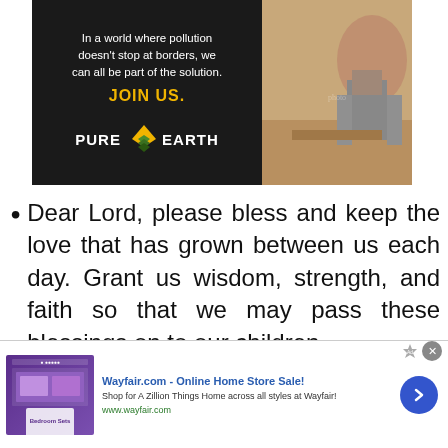[Figure (illustration): Pure Earth advertisement banner with dark background. Left side has text: 'In a world where pollution doesn't stop at borders, we can all be part of the solution.' followed by 'JOIN US.' in gold/yellow bold text, and Pure Earth logo with diamond icon. Right side shows a photo of a person working outdoors in soil.]
Dear Lord, please bless and keep the love that has grown between us each day. Grant us wisdom, strength, and faith so that we may pass these blessings on to our children.
[Figure (screenshot): Wayfair.com advertisement banner at bottom. Shows Wayfair logo area with bedroom furniture thumbnail on left, text 'Wayfair.com - Online Home Store Sale!' in blue bold, 'Shop for A Zillion Things Home across all styles at Wayfair!' in gray, 'www.wayfair.com' in green, and a blue circular arrow button on the right. Close X button and ads badge visible at top.]